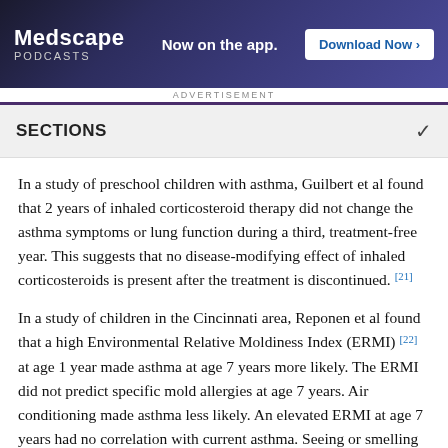[Figure (other): Medscape Podcasts advertisement banner: 'Now on the app. Download Now >']
ADVERTISEMENT
SECTIONS
In a study of preschool children with asthma, Guilbert et al found that 2 years of inhaled corticosteroid therapy did not change the asthma symptoms or lung function during a third, treatment-free year. This suggests that no disease-modifying effect of inhaled corticosteroids is present after the treatment is discontinued. [21]
In a study of children in the Cincinnati area, Reponen et al found that a high Environmental Relative Moldiness Index (ERMI) [22] at age 1 year made asthma at age 7 years more likely. The ERMI did not predict specific mold allergies at age 7 years. Air conditioning made asthma less likely. An elevated ERMI at age 7 years had no correlation with current asthma. Seeing or smelling mold in a home inspection at age 1 year did not correlate with the ERMI or with the development of asthma. They also found that black race, having a parent with asthma, and